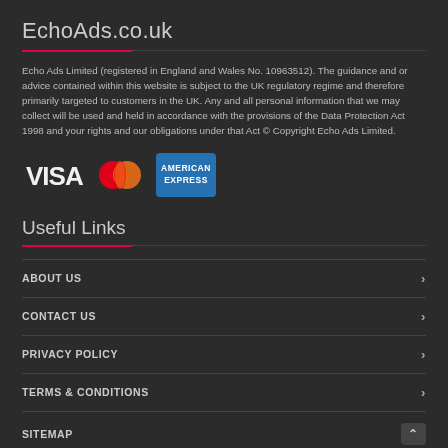EchoAds.co.uk
Echo Ads Limited (registered in England and Wales No. 10963512). The guidance and or advice contained within this website is subject to the UK regulatory regime and therefore primarily targeted to customers in the UK. Any and all personal information that we may collect will be used and held in accordance with the provisions of the Data Protection Act 1998 and your rights and our obligations under that Act © Copyright Echo Ads Limited.
[Figure (logo): Payment logos: VISA, Mastercard, American Express]
Useful Links
ABOUT US
CONTACT US
PRIVACY POLICY
TERMS & CONDITIONS
SITEMAP